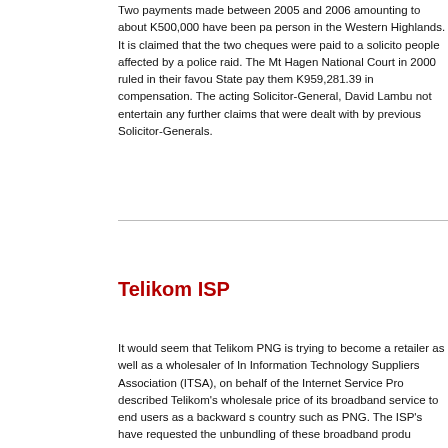Two payments made between 2005 and 2006 amounting to about K500,000 have been paid to a person in the Western Highlands. It is claimed that the two cheques were paid to a solicitor for people affected by a police raid. The Mt Hagen National Court in 2000 ruled in their favour and the State pay them K959,281.39 in compensation. The acting Solicitor-General, David Lambu, said he would not entertain any further claims that were dealt with by previous Solicitor-Generals.
Telikom ISP
It would seem that Telikom PNG is trying to become a retailer as well as a wholesaler of Internet. The Information Technology Suppliers Association (ITSA), on behalf of the Internet Service Providers, described Telikom's wholesale price of its broadband service to end users as a backward step for a country such as PNG. The ISP's have requested the unbundling of these broadband products as required by law to allow them to continue providing the best possible level of service to internet users by way of fair and uniform competition.
Chinese Diplomat
The PNG ambassador to China has been recalled to PNG but is ignoring the call by his s